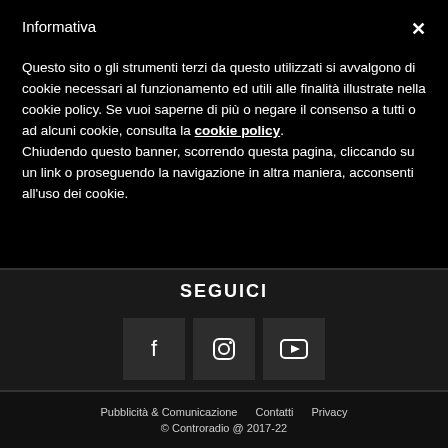Informativa
Questo sito o gli strumenti terzi da questo utilizzati si avvalgono di cookie necessari al funzionamento ed utili alle finalità illustrate nella cookie policy. Se vuoi saperne di più o negare il consenso a tutti o ad alcuni cookie, consulta la cookie policy. Chiudendo questo banner, scorrendo questa pagina, cliccando su un link o proseguendo la navigazione in altra maniera, acconsenti all'uso dei cookie.
SEGUICI
[Figure (infographic): Three social media icon buttons: Facebook (f), Instagram (camera icon), YouTube (play button)]
Pubblicità & Comunicazione   Contatti   Privacy
© Controradio @ 2017-22